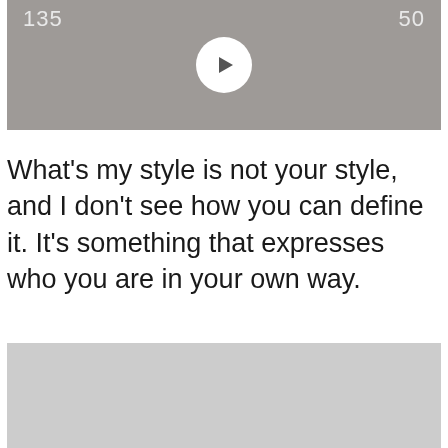[Figure (screenshot): Video thumbnail with grey background, play button in center, time codes '135' on left and '50' on right at top]
What's my style is not your style, and I don't see how you can define it. It's something that expresses who you are in your own way.
[Figure (photo): Light grey image placeholder at the bottom of the page]